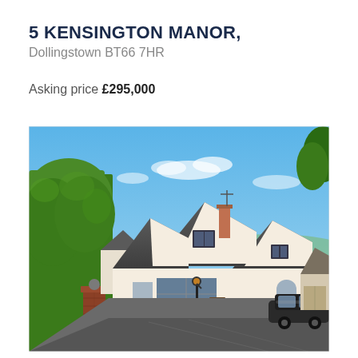5 KENSINGTON MANOR,
Dollingstown BT66 7HR
Asking price £295,000
[Figure (photo): Exterior photograph of a detached bungalow with dormer extensions at 5 Kensington Manor, Dollingstown. White rendered walls, grey slate roof, tarmac driveway, brick gatepost with green hedge, clear blue sky.]